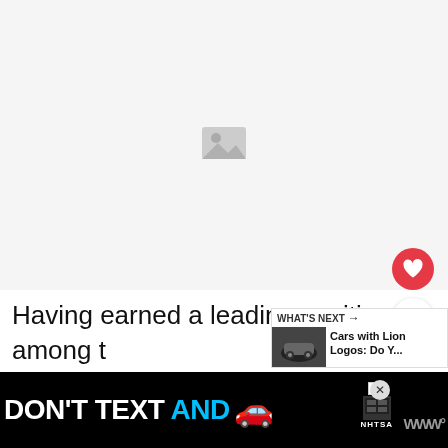[Figure (photo): Blank/placeholder image area, light gray background with a faint icon in center]
Having earned a leading position among the brand's production lines since 1955, the Toyota Crown was initially aimed at the Japanese market and other select Asian markets, but has since become the
[Figure (other): WHAT'S NEXT widget with thumbnail image and text: Cars with Lion Logos: Do Y...]
[Figure (other): Ad banner: DON'T TEXT AND [car emoji] with NHTSA logo and ad label. Close button (X) visible.]